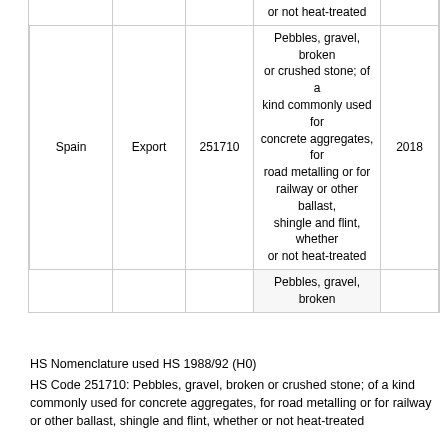| Country | Trade Flow | HS Code | Description | Year |
| --- | --- | --- | --- | --- |
|  |  |  | or not heat-treated |  |
| Spain | Export | 251710 | Pebbles, gravel, broken or crushed stone; of a kind commonly used for concrete aggregates, for road metalling or for railway or other ballast, shingle and flint, whether or not heat-treated | 2018 |
|  |  |  | Pebbles, gravel, broken |  |
HS Nomenclature used HS 1988/92 (H0)
HS Code 251710: Pebbles, gravel, broken or crushed stone; of a kind commonly used for concrete aggregates, for road metalling or for railway or other ballast, shingle and flint, whether or not heat-treated
Please note : Exports is gross exports and Imports is gross imports
About   Contact   Usage Conditions   Legal   Data Providers
Page Refreshed : Sep-2-2022 15:33 ET
Partners [logos]